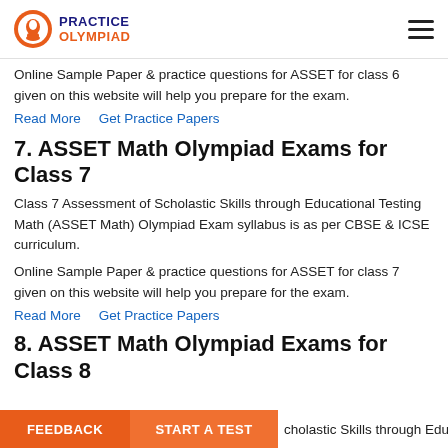PRACTICE OLYMPIAD
Online Sample Paper & practice questions for ASSET for class 6 given on this website will help you prepare for the exam.
Read More    Get Practice Papers
7. ASSET Math Olympiad Exams for Class 7
Class 7 Assessment of Scholastic Skills through Educational Testing Math (ASSET Math) Olympiad Exam syllabus is as per CBSE & ICSE curriculum.
Online Sample Paper & practice questions for ASSET for class 7 given on this website will help you prepare for the exam.
Read More    Get Practice Papers
8. ASSET Math Olympiad Exams for Class 8
cholastic Skills through Educational